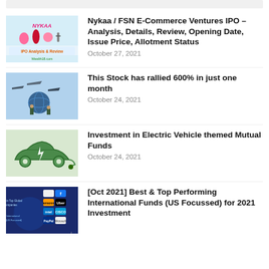[Figure (illustration): Nykaa IPO Analysis & Review thumbnail with cosmetics imagery and Wealth18.com branding]
Nykaa / FSN E-Commerce Ventures IPO – Analysis, Details, Review, Opening Date, Issue Price, Allotment Status
October 27, 2021
[Figure (illustration): Stock rally thumbnail with aircraft and technology imagery]
This Stock has rallied 600% in just one month
October 24, 2021
[Figure (illustration): Green electric vehicle car made of leaves with charging plug]
Investment in Electric Vehicle themed Mutual Funds
October 24, 2021
[Figure (illustration): Best International Funds US Focussed thumbnail with global company logos including Apple, Facebook, Amazon, Uber, Intel, Cisco, Microsoft, PayPal]
[Oct 2021] Best & Top Performing International Funds (US Focussed) for 2021 Investment